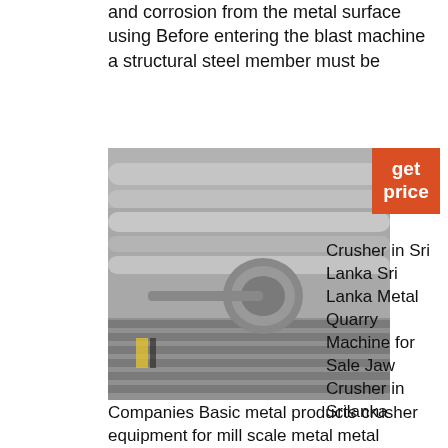and corrosion from the metal surface using Before entering the blast machine a structural steel member must be
[Figure (photo): Industrial machinery showing metal pipes and mechanical components in a manufacturing or blasting facility]
get price
Crusher in Sri Lanka Sri Lanka Metal Quarry Machine for Sale Jaw Crusher in Srilanka
Companies Basic metal products crusher equipment for mill scale metal metal crusher equipment sale in sri lanka spitseu Traduire cette pageCrushers Pulverizers Mills Particle size reduction or comminution is often required to prepare bulk material samples for testing Milling and Grinding produces finer more homogenous